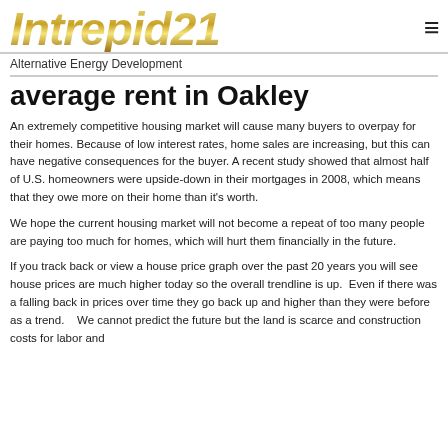Intrepid21 — Alternative Energy Development
average rent in Oakley
An extremely competitive housing market will cause many buyers to overpay for their homes. Because of low interest rates, home sales are increasing, but this can have negative consequences for the buyer. A recent study showed that almost half of U.S. homeowners were upside-down in their mortgages in 2008, which means that they owe more on their home than it's worth.
We hope the current housing market will not become a repeat of too many people are paying too much for homes, which will hurt them financially in the future.
If you track back or view a house price graph over the past 20 years you will see house prices are much higher today so the overall trendline is up.  Even if there was a falling back in prices over time they go back up and higher than they were before as a trend.    We cannot predict the future but the land is scarce and construction costs for labor and